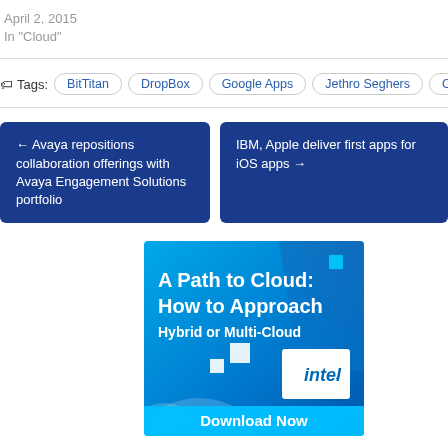April 2, 2015
In "Cloud"
Tags: BitTitan | DropBox | Google Apps | Jethro Seghers | Office 365
← Avaya repositions collaboration offerings with Avaya Engagement Solutions portfolio
IBM, Apple deliver first apps for iOS apps →
[Figure (illustration): Advertisement banner: A Path to Cloud: How to Approach Hybrid or Multi-Cloud, with Intel logo and Download Now button, blue gradient background with cloud graphics]